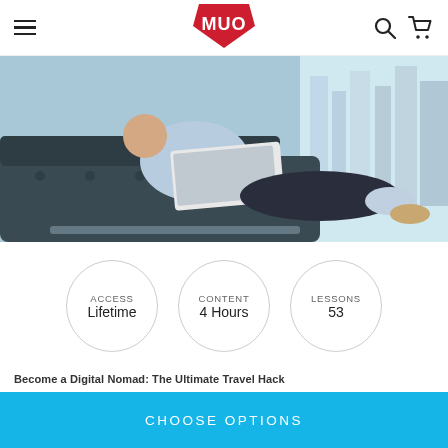MUO
[Figure (photo): Person reclining on a dark leather sofa using a laptop, with a city skyline visible through a large window]
ACCESS
Lifetime

CONTENT
4 Hours

LESSONS
53
Become a Digital Nomad: The Ultimate Travel Hack
Travel Full-Time By Working from Anywhere &
CHOOSE OPTIONS